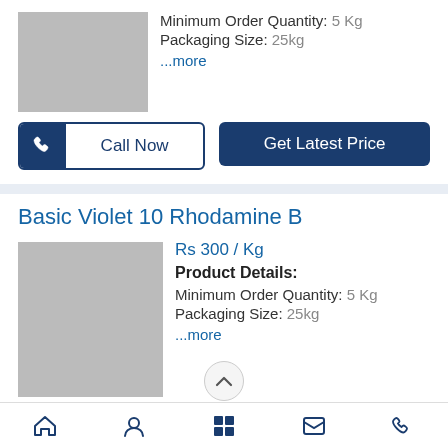Minimum Order Quantity: 5 Kg
Packaging Size: 25kg
...more
Call Now
Get Latest Price
Basic Violet 10 Rhodamine B
Rs 300 / Kg
Product Details:
Minimum Order Quantity: 5 Kg
Packaging Size: 25kg
...more
Call Now
Get Latest Price